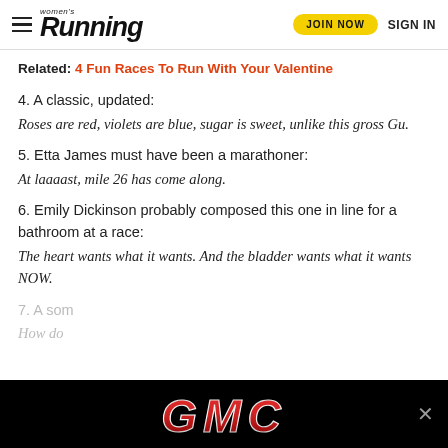Women's Running | JOIN NOW | SIGN IN
Related: 4 Fun Races To Run With Your Valentine
4. A classic, updated:
Roses are red, violets are blue, sugar is sweet, unlike this gross Gu.
5. Etta James must have been a marathoner:
At laaaast, mile 26 has come along.
6. Emily Dickinson probably composed this one in line for a bathroom at a race:
The heart wants what it wants. And the bladder wants what it wants NOW.
7. A som...
How do...
[Figure (other): GMC advertisement banner at bottom of page with red GMC logo text on black background and an X close button]